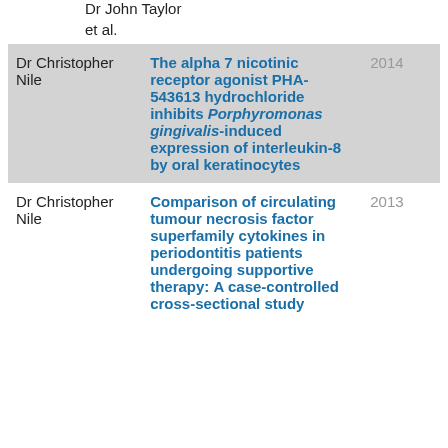Dr John Taylor
et al.
| Author | Title | Year |
| --- | --- | --- |
| Dr Christopher Nile | The alpha 7 nicotinic receptor agonist PHA-543613 hydrochloride inhibits Porphyromonas gingivalis-induced expression of interleukin-8 by oral keratinocytes | 2014 |
| Dr Christopher Nile | Comparison of circulating tumour necrosis factor superfamily cytokines in periodontitis patients undergoing supportive therapy: A case-controlled cross-sectional study | 2013 |